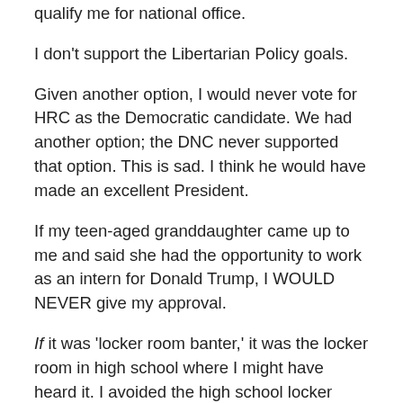qualify me for national office.
I don't support the Libertarian Policy goals.
Given another option, I would never vote for HRC as the Democratic candidate. We had another option; the DNC never supported that option. This is sad. I think he would have made an excellent President.
If my teen-aged granddaughter came up to me and said she had the opportunity to work as an intern for Donald Trump, I WOULD NEVER give my approval.
If it was ‘locker room banter,’ it was the locker room in high school where I might have heard it. I avoided the high school locker room.
I heard this ‘banter’ in Freshman or Sophomore college dorm rooms where the participants were mostly stoned or